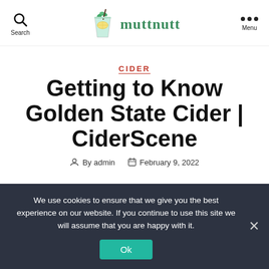Search | muttnutt | Menu
CIDER
Getting to Know Golden State Cider | CiderScene
By admin   February 9, 2022
We use cookies to ensure that we give you the best experience on our website. If you continue to use this site we will assume that you are happy with it.